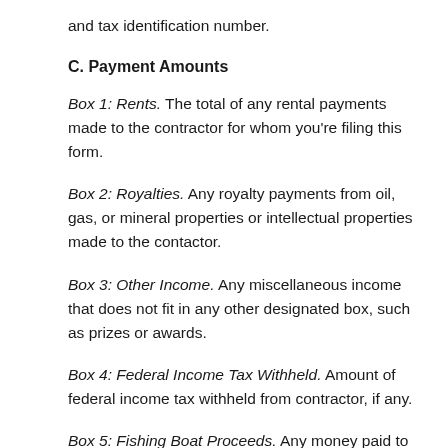and tax identification number.
C. Payment Amounts
Box 1: Rents. The total of any rental payments made to the contractor for whom you're filing this form.
Box 2: Royalties. Any royalty payments from oil, gas, or mineral properties or intellectual properties made to the contactor.
Box 3: Other Income. Any miscellaneous income that does not fit in any other designated box, such as prizes or awards.
Box 4: Federal Income Tax Withheld. Amount of federal income tax withheld from contractor, if any.
Box 5: Fishing Boat Proceeds. Any money paid to a fishing